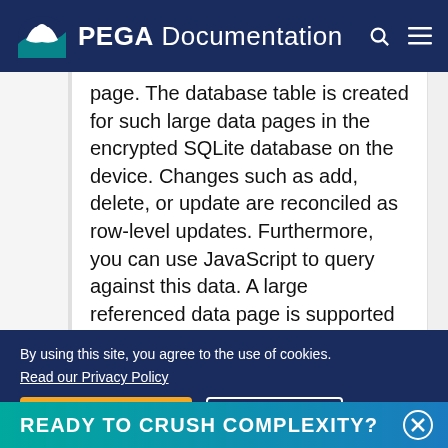PEGA Documentation
page. The database table is created for such large data pages in the encrypted SQLite database on the device. Changes such as add, delete, or update are reconciled as row-level updates. Furthermore, you can use JavaScript to query against this data. A large referenced data page is supported by list-based components such as repeating dynamic layout, auto-complete, a dropdown list, and radio button.
READY TO CRUSH COMPLEXITY?
By using this site, you agree to the use of cookies. Read our Privacy Policy
Accept and continue   About cookies